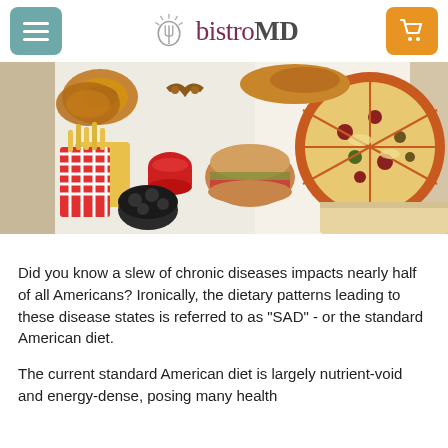bistroMD
[Figure (photo): Overhead view of fast food spread: onion rings, french fries with ketchup, burger, pretzel, pizza, wings, and various sauces on a white surface.]
Did you know a slew of chronic diseases impacts nearly half of all Americans? Ironically, the dietary patterns leading to these disease states is referred to as "SAD" - or the standard American diet.
The current standard American diet is largely nutrient-void and energy-dense, posing many health